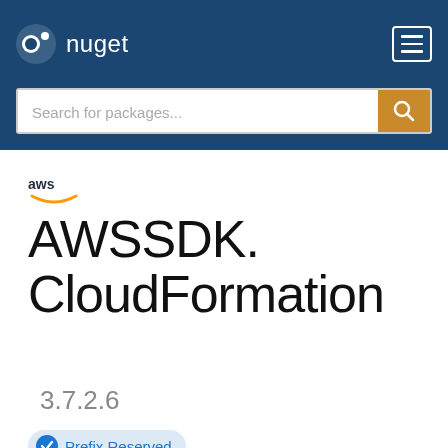nuget
AWSSDK.CloudFormation 3.7.2.6
Prefix Reserved
.NET Core 3.1  .NET Standard 2.0  .NET Framework 3.5
There is a newer version of this package available. See the version list below for details.
Package Manager  .NET CLI  PackageReference